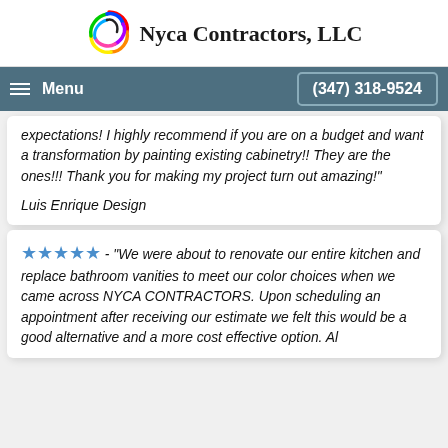Nyca Contractors, LLC
Menu   (347) 318-9524
expectations! I highly recommend if you are on a budget and want a transformation by painting existing cabinetry!! They are the ones!!! Thank you for making my project turn out amazing!"
Luis Enrique Design
★★★★★ - "We were about to renovate our entire kitchen and replace bathroom vanities to meet our color choices when we came across NYCA CONTRACTORS. Upon scheduling an appointment after receiving our estimate we felt this would be a good alternative and a more cost effective option. Al